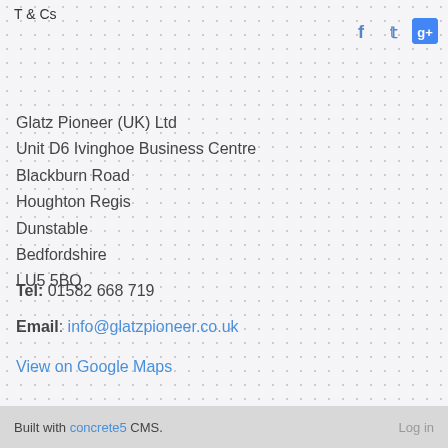T & Cs
[Figure (other): Social media icons: Facebook, Twitter, Google+]
Glatz Pioneer (UK) Ltd
Unit D6 Ivinghoe Business Centre
Blackburn Road
Houghton Regis
Dunstable
Bedfordshire
LU5 5BQ
Tel: 01582 668 719
Email: info@glatzpioneer.co.uk
View on Google Maps
Built with concrete5 CMS.    Log in